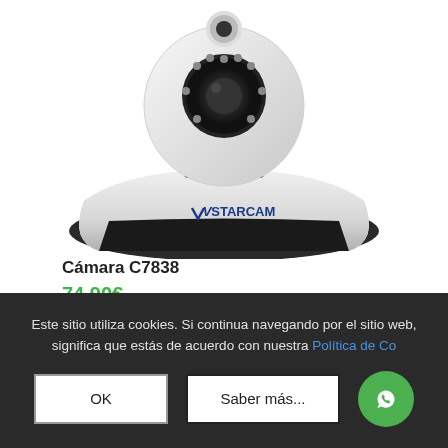[Figure (photo): White VStarcam C7838 IP security camera with pan/tilt base, showing the brand logo 'VStarcam' on the base. Camera has infrared LEDs around the lens. Photographed on white background.]
Cámara C7838
74,90€
Este sitio utiliza cookies. Si continua navegando por el sitio web, significa que estás de acuerdo con nuestra Política de Co...
OK
Saber más...